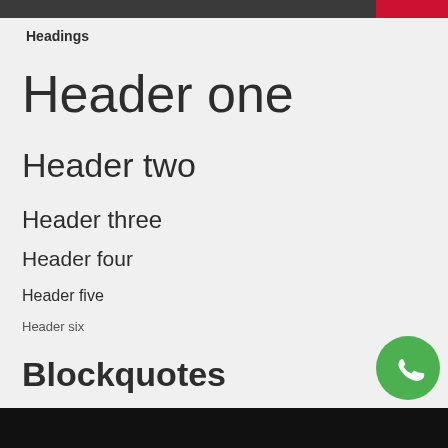Headings
Header one
Header two
Header three
Header four
Header five
Header six
Blockquotes
Single line blockquote:
WHATSAPP